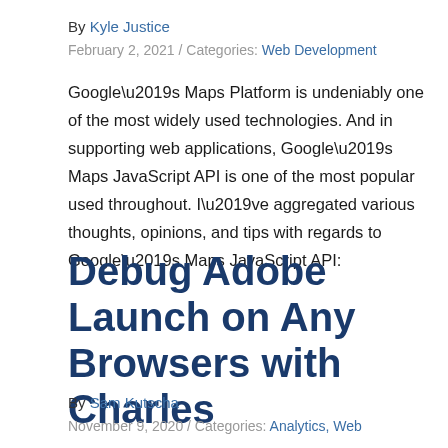By Kyle Justice
February 2, 2021 / Categories: Web Development
Google’s Maps Platform is undeniably one of the most widely used technologies. And in supporting web applications, Google’s Maps JavaScript API is one of the most popular used throughout. I’ve aggregated various thoughts, opinions, and tips with regards to Google’s Maps JavaScript API:
Debug Adobe Launch on Any Browsers with Charles
By Sam Kutscha
November 9, 2020 / Categories: Analytics, Web